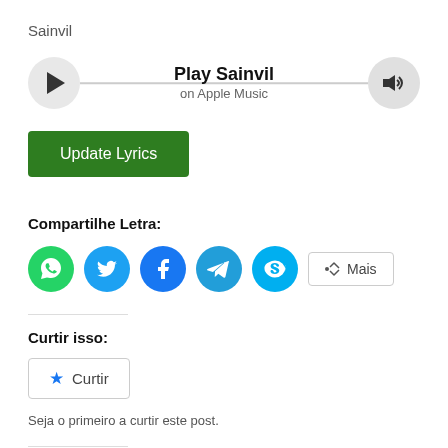Sainvil
[Figure (other): Music player bar with play button, 'Play Sainvil on Apple Music' text, and volume button connected by a horizontal line]
Update Lyrics
Compartilhe Letra:
[Figure (other): Social sharing buttons: WhatsApp (green), Twitter (blue), Facebook (dark blue), Telegram (blue), Skype (light blue), and a 'Mais' button]
Curtir isso:
Curtir
Seja o primeiro a curtir este post.
All Trend
Sainvil – My Baby
B Young – So Distant